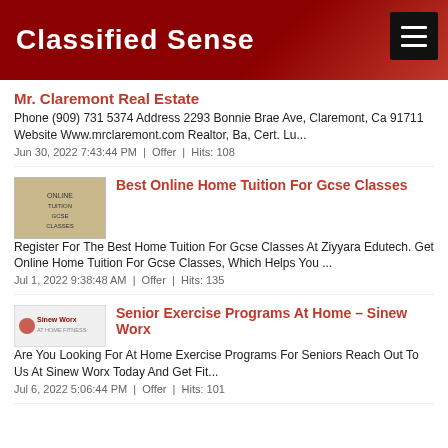Classified Sense
Mr. Claremont Real Estate
Phone (909) 731 5374 Address 2293 Bonnie Brae Ave, Claremont, Ca 91711 Website Www.mrclaremont.com Realtor, Ba, Cert. Lu...
Jun 30, 2022 7:43:44 PM  |  Offer  |  Hits: 108
Best Online Home Tuition For Gcse Classes
Register For The Best Home Tuition For Gcse Classes At Ziyyara Edutech. Get Online Home Tuition For Gcse Classes, Which Helps You ...
Jul 1, 2022 9:38:48 AM  |  Offer  |  Hits: 135
Senior Exercise Programs At Home – Sinew Worx
Are You Looking For At Home Exercise Programs For Seniors Reach Out To Us At Sinew Worx Today And Get Fit...
Jul 6, 2022 5:06:44 PM  |  Offer  |  Hits: 101